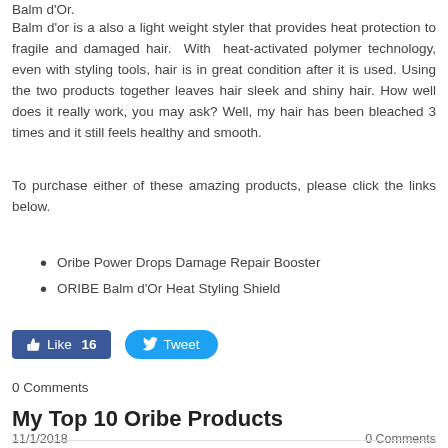Balm d'Or.
Balm d'or is a also a light weight styler that provides heat protection to fragile and damaged hair. With heat-activated polymer technology, even with styling tools, hair is in great condition after it is used. Using the two products together leaves hair sleek and shiny hair. How well does it really work, you may ask? Well, my hair has been bleached 3 times and it still feels healthy and smooth.
To purchase either of these amazing products, please click the links below.
Oribe Power Drops Damage Repair Booster
ORIBE Balm d'Or Heat Styling Shield
Like 16   Tweet
0 Comments
My Top 10 Oribe Products
11/1/2018   0 Comments